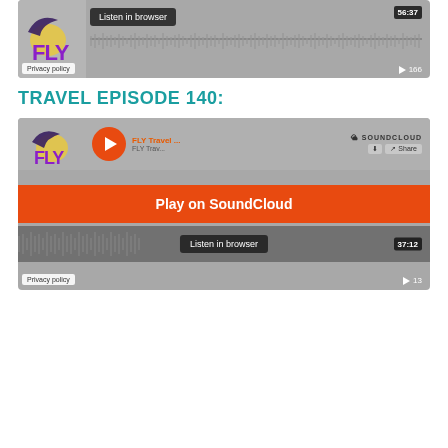[Figure (screenshot): SoundCloud embedded audio player widget showing a FLY podcast episode with waveform, Listen in browser button, time 56:37, and 166 plays. Privacy policy tag visible at bottom left.]
TRAVEL EPISODE 140:
[Figure (screenshot): SoundCloud embedded audio player widget for FLY Travel episode with orange Play on SoundCloud overlay button, Listen in browser button, time 37:12, and 13 plays. Privacy policy tag visible at bottom left.]